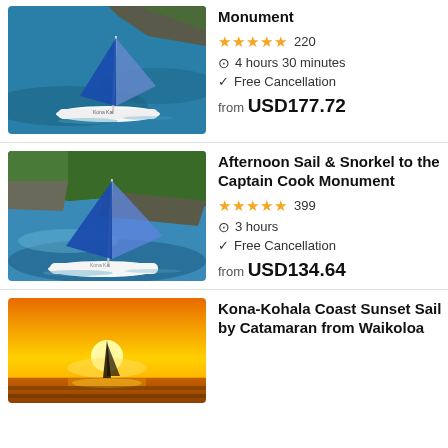[Figure (photo): Aerial view of a catamaran sailboat with blue sail on turquoise ocean water near rocky shore]
Monument
★★★★★ 220
4 hours 30 minutes
Free Cancellation
from USD177.72
[Figure (photo): Aerial view of a catamaran sailboat with blue sail near rocky green coastline]
Afternoon Sail & Snorkel to the Captain Cook Monument
★★★★★ 399
3 hours
Free Cancellation
from USD134.64
[Figure (photo): Sunset over ocean with silhouette of sailboat, orange and yellow sky]
Kona-Kohala Coast Sunset Sail by Catamaran from Waikoloa